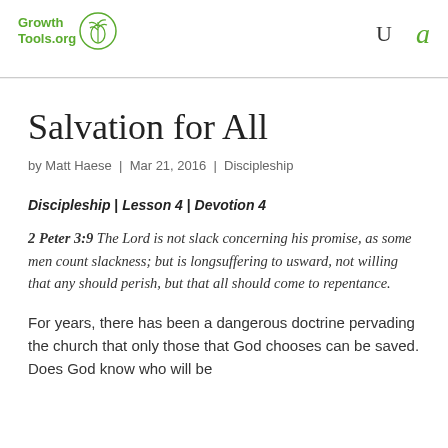GrowthTools.org
Salvation for All
by Matt Haese | Mar 21, 2016 | Discipleship
Discipleship | Lesson 4 | Devotion 4
2 Peter 3:9 The Lord is not slack concerning his promise, as some men count slackness; but is longsuffering to usward, not willing that any should perish, but that all should come to repentance.
For years, there has been a dangerous doctrine pervading the church that only those that God chooses can be saved. Does God know who will be